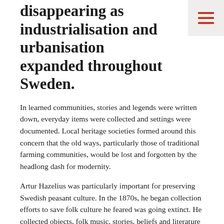disappearing as industrialisation and urbanisation expanded throughout Sweden.
In learned communities, stories and legends were written down, everyday items were collected and settings were documented. Local heritage societies formed around this concern that the old ways, particularly those of traditional farming communities, would be lost and forgotten by the headlong dash for modernity.
Artur Hazelius was particularly important for preserving Swedish peasant culture. In the 1870s, he began collection efforts to save folk culture he feared was going extinct. He collected objects, folk music, stories, beliefs and literature which would later lead to the establishment of the Nordic Museum at Djurgården in Stockholm. His open-air museum, Skansen, was inaugurated in autumn 1891, next to where the Nordic Museum would open in 1907.
Skansen became the model for several open-air museums that were established in Swedish towns during the early 20th century, including in Umeå.
Fi... and Aft...